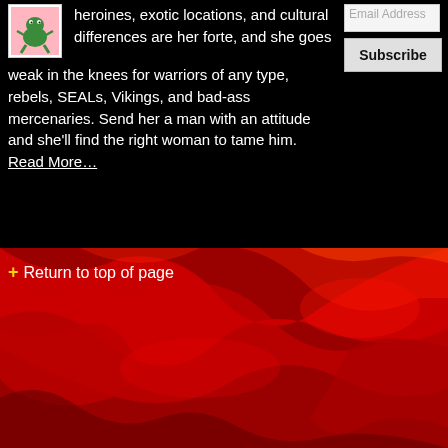[Figure (logo): Small logo image — cartoon green dinosaur/frog figure on pink/white background]
heroines, exotic locations, and cultural differences are her forte, and she goes weak in the knees for warriors of any type, rebels, SEALs, Vikings, and bad-ass mercenaries. Send her a man with an attitude and she'll find the right woman to tame him. Read More…
Email Address
Subscribe
+ Return to top of page
[Figure (photo): Deep red satin fabric background with dramatic folds and highlights, filling the lower portion of the page]